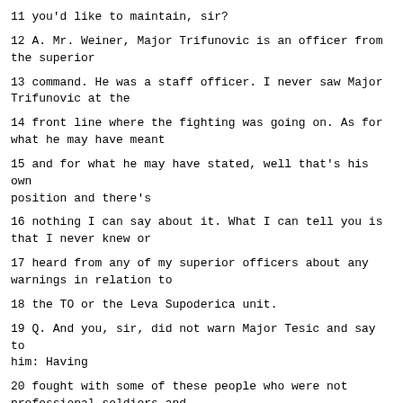11 you'd like to maintain, sir?
12 A. Mr. Weiner, Major Trifunovic is an officer from the superior
13 command. He was a staff officer. I never saw Major Trifunovic at the
14 front line where the fighting was going on. As for what he may have meant
15 and for what he may have stated, well that's his own position and there's
16 nothing I can say about it. What I can tell you is that I never knew or
17 heard from any of my superior officers about any warnings in relation to
18 the TO or the Leva Supoderica unit.
19 Q. And you, sir, did not warn Major Tesic and say to him: Having
20 fought with some of these people who were not professional soldiers and
21 knowing their hostility, you better be very careful about acts of